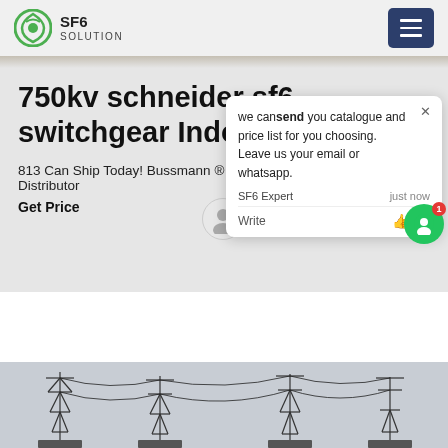SF6 SOLUTION
750kv schneider sf6 switchgear Indonesia
813 Can Ship Today! Bussmann ® A Distributor
Get Price
[Figure (screenshot): Chat popup overlay with message: 'we can send you catalogue and price list for you choosing. Leave us your email or whatsapp.' Shows SF6 Expert agent and write/attach controls.]
[Figure (photo): Electrical transmission substation with high-voltage towers and cables against a grey sky.]